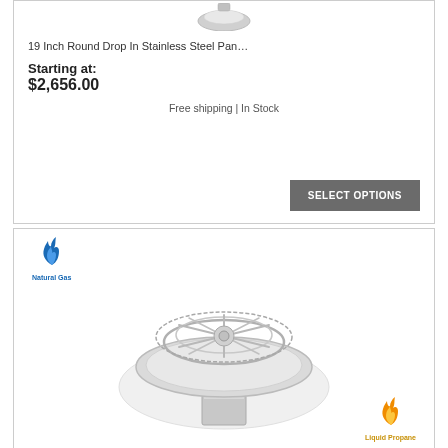[Figure (photo): Partial product image at top of first card]
19 Inch Round Drop In Stainless Steel Pan…
Starting at:
$2,656.00
Free shipping | In Stock
SELECT OPTIONS
[Figure (logo): Natural Gas flame logo with blue flame and 'Natural Gas' label]
[Figure (photo): Stainless steel round fire pit pan/burner on white oval base with chrome burner ring on top]
[Figure (logo): Liquid Propane flame logo with orange/yellow flame and 'Liquid Propane' label]